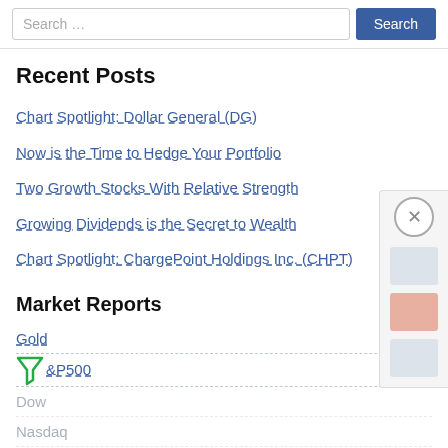Search …
Recent Posts
Chart Spotlight: Dollar General (DG)
Now is the Time to Hedge Your Portfolio
Two Growth Stocks With Relative Strength
Growing Dividends is the Secret to Wealth
Chart Spotlight: ChargePoint Holdings Inc. (CHPT)
Market Reports
Gold
S&P500
Dow
Nasdaq
Crude Oil